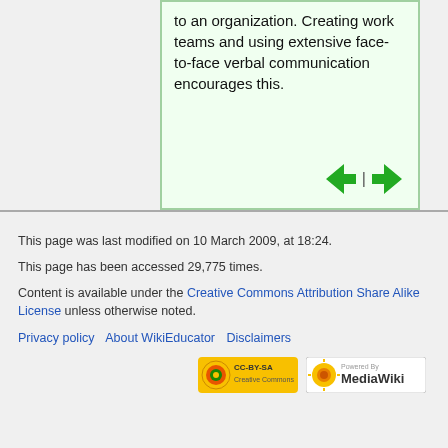to an organization. Creating work teams and using extensive face-to-face verbal communication encourages this.
This page was last modified on 10 March 2009, at 18:24.
This page has been accessed 29,775 times.
Content is available under the Creative Commons Attribution Share Alike License unless otherwise noted.
Privacy policy   About WikiEducator   Disclaimers